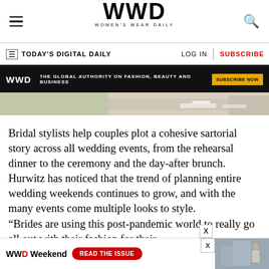WWD WOMEN'S WEAR DAILY
TODAY'S DIGITAL DAILY | LOG IN | SUBSCRIBE
[Figure (screenshot): WWD black banner advertisement: THE GLOBAL AUTHORITY ON FASHION, BEAUTY AND BUSINESS | SUBSCRIBE NOW]
[Figure (photo): Partial image strip showing outdoor wedding scene on grass]
Bridal stylists help couples plot a cohesive sartorial story across all wedding events, from the rehearsal dinner to the ceremony and the day-after brunch. Hurwitz has noticed that the trend of planning entire wedding weekends continues to grow, and with the many events come multiple looks to style.
“Brides are using this post-pandemic world to really go all out with their fashion for their
[Figure (screenshot): Bottom ad banner: WWD Weekend READ THE ISSUE with photo of person]